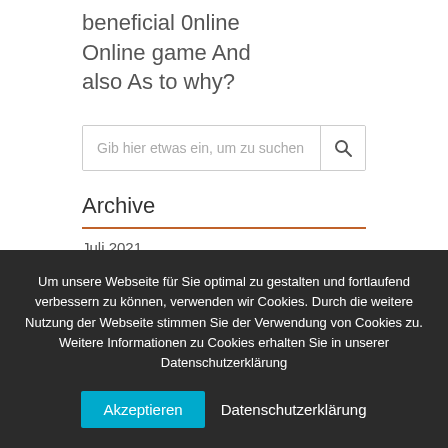beneficial 0nline Online game And also As to why?
[Figure (other): Search input box with placeholder text 'Gib hier etwas ein, um zu suchen' and a search icon button]
Archive
Juli 2021
Um unsere Webseite für Sie optimal zu gestalten und fortlaufend verbessern zu können, verwenden wir Cookies. Durch die weitere Nutzung der Webseite stimmen Sie der Verwendung von Cookies zu. Weitere Informationen zu Cookies erhalten Sie in unserer Datenschutzerklärung
Akzeptieren
Datenschutzerklärung